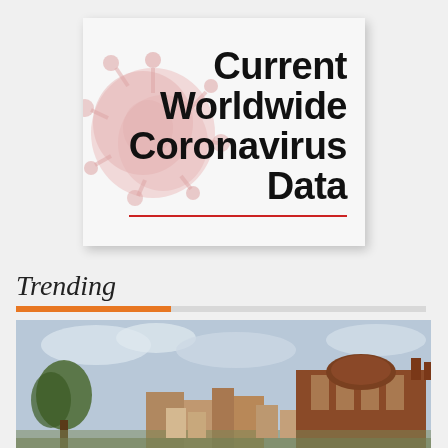[Figure (illustration): A card with blurred red coronavirus particle image on left and bold black text reading 'Current Worldwide Coronavirus Data' with a red underline on the right, on a light grey background with shadow.]
Trending
[Figure (photo): A photo of an urban street scene showing brick buildings including a building with a dome visible in the background, trees in foreground, taken on an overcast day.]